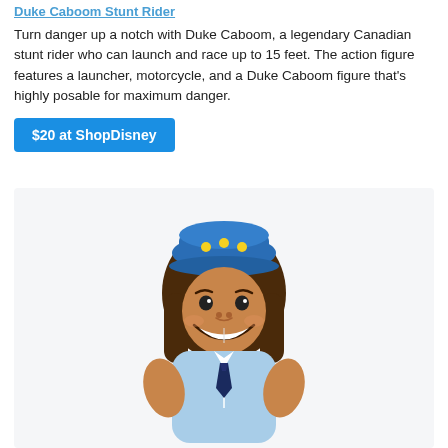Duke Caboom Stunt Rider
Turn danger up a notch with Duke Caboom, a legendary Canadian stunt rider who can launch and race up to 15 feet. The action figure features a launcher, motorcycle, and a Duke Caboom figure that's highly posable for maximum danger.
$20 at ShopDisney
[Figure (photo): Plush toy of Duke Caboom character from Toy Story 4, featuring brown hair, blue cap with yellow dots, smiling face, light blue shirt, and dark tie, shown from upper torso up against a light gray background.]